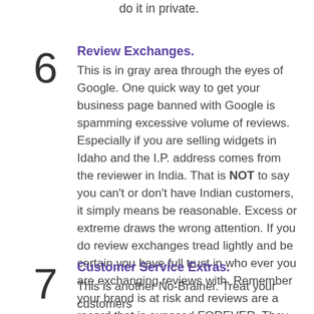do it in private.
6 Review Exchanges. This is in gray area through the eyes of Google. One quick way to get your business page banned with Google is spamming excessive volume of reviews. Especially if you are selling widgets in Idaho and the I.P. address comes from the reviewer in India. That is NOT to say you can't or don't have Indian customers, it simply means be reasonable. Excess or extreme draws the wrong attention. If you do review exchanges tread lightly and be certain you have full trust in who ever you are exchanging reviews with. Remember your brand is at risk and reviews are a record that is exposed FOREVER. They never come down.
7 Customer Service Extras. This is another No-Brainer. Treat your customers